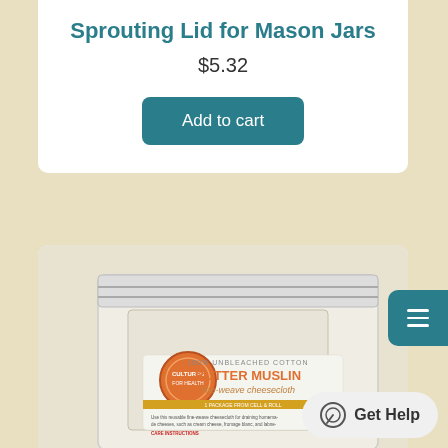Sprouting Lid for Mason Jars
$5.32
Add to cart
[Figure (photo): Product photo of Butter Muslin 100% Unbleached Cotton fine-weave cheesecloth in a clear ziplock bag, with an orange circular brand logo and product label text.]